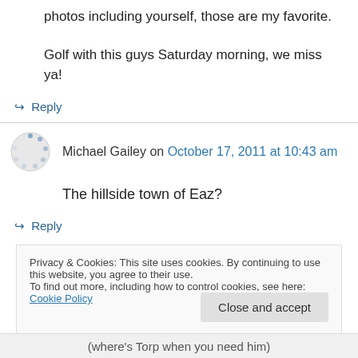photos including yourself, those are my favorite.
Golf with this guys Saturday morning, we miss ya!
↪ Reply
Michael Gailey on October 17, 2011 at 10:43 am
The hillside town of Eaz?
↪ Reply
Privacy & Cookies: This site uses cookies. By continuing to use this website, you agree to their use.
To find out more, including how to control cookies, see here: Cookie Policy
Close and accept
(where's Torp when you need him)